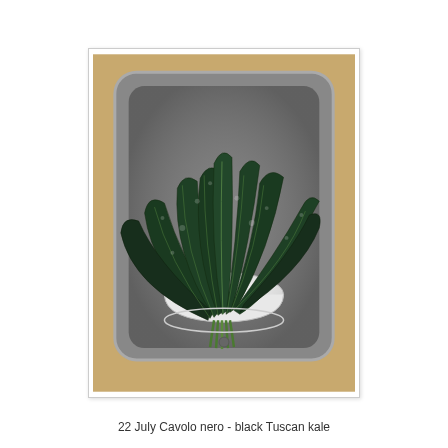[Figure (photo): Overhead photo of dark green Cavolo nero (black Tuscan kale) leaves arranged in a white bowl sitting inside a stainless steel kitchen sink, placed on a brown/cardboard surface.]
22 July Cavolo nero - black Tuscan kale